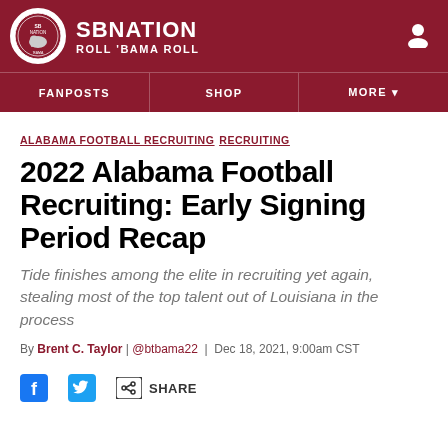SB NATION / ROLL 'BAMA ROLL
FANPOSTS  SHOP  MORE
ALABAMA FOOTBALL RECRUITING  RECRUITING
2022 Alabama Football Recruiting: Early Signing Period Recap
Tide finishes among the elite in recruiting yet again, stealing most of the top talent out of Louisiana in the process
By Brent C. Taylor | @btbama22 | Dec 18, 2021, 9:00am CST
SHARE